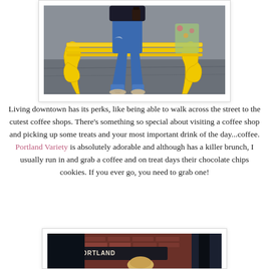[Figure (photo): Person sitting on a yellow decorative bench, wearing ripped jeans and beige lace-up shoes, holding a drink. Outdoor urban setting.]
Living downtown has its perks, like being able to walk across the street to the cutest coffee shops. There’s something so special about visiting a coffee shop and picking up some treats and your most important drink of the day...coffee. Portland Variety is absolutely adorable and although has a killer brunch, I usually run in and grab a coffee and on treat days their chocolate chips cookies. If you ever go, you need to grab one!
[Figure (photo): Exterior storefront photo of Portland Variety coffee shop with signage visible in the background.]